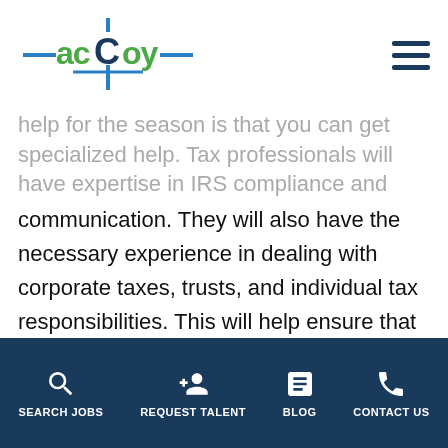acCoy logo and navigation menu
help for the season is that you can get specialized help. Tax professionals will have expertise in IRS compliance and communication. They will also have the necessary experience in dealing with corporate taxes, trusts, and individual tax responsibilities. This will help ensure that you are dotting your I's and crossing your T's when dealing with your taxes.
More Flexibility
It is possible that the best benefit of hiring a
SEARCH JOBS | REQUEST TALENT | BLOG | CONTACT US